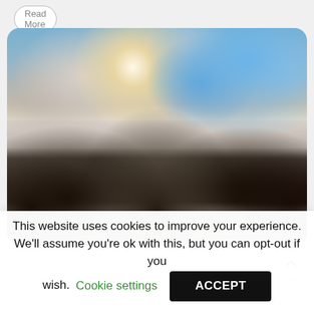Read More
[Figure (photo): Scenic mountain landscape with snow-covered peaks, dark forested slopes, a valley, and a dramatic sky with clouds and patches of blue sky and sunlight breaking through.]
This website uses cookies to improve your experience. We'll assume you're ok with this, but you can opt-out if you wish.
Cookie settings
ACCEPT